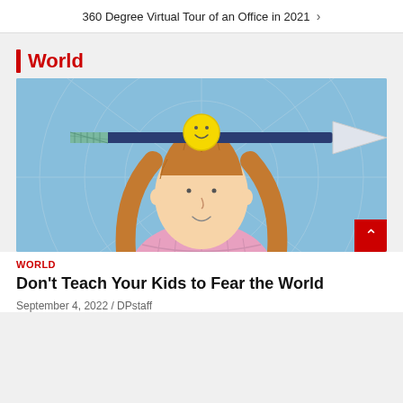360 Degree Virtual Tour of an Office in 2021 >
World
[Figure (illustration): Cartoon illustration of a girl with long brown hair and a pink top, smiling, with an arrow passing through a yellow smiley-face ball balanced on her head. Blue background with circular target lines.]
WORLD
Don't Teach Your Kids to Fear the World
September 4, 2022 / DPstaff